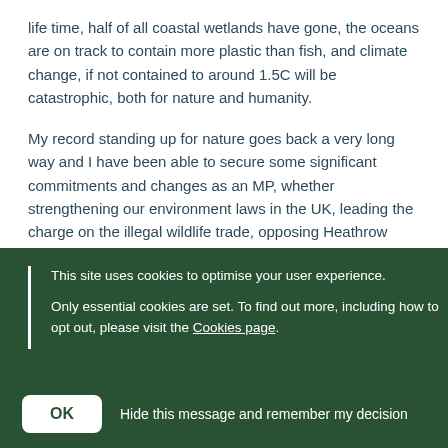life time, half of all coastal wetlands have gone, the oceans are on track to contain more plastic than fish, and climate change, if not contained to around 1.5C will be catastrophic, both for nature and humanity.
My record standing up for nature goes back a very long way and I have been able to secure some significant commitments and changes as an MP, whether strengthening our environment laws in the UK, leading the charge on the illegal wildlife trade, opposing Heathrow expansion or persuading the government to create a huge network of giant marine protected areas around our overseas territories.
This site uses cookies to optimise your user experience.
Only essential cookies are set. To find out more, including how to opt out, please visit the Cookies page.
OK  Hide this message and remember my decision